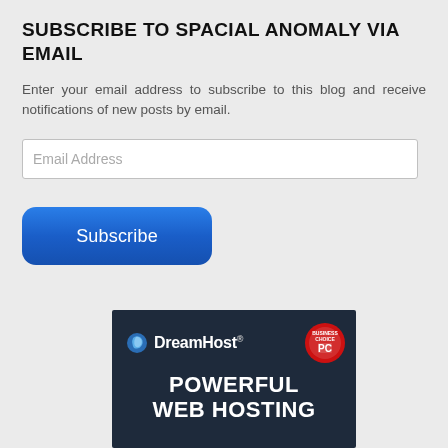SUBSCRIBE TO SPACIAL ANOMALY VIA EMAIL
Enter your email address to subscribe to this blog and receive notifications of new posts by email.
[Figure (screenshot): Email address input field (text box with placeholder 'Email Address') and a blue rounded 'Subscribe' button below it]
[Figure (infographic): DreamHost advertisement banner with dark navy background showing the DreamHost logo with crescent moon icon, a PC Magazine Business Choice award badge, and bold white text reading 'POWERFUL WEB HOSTING']